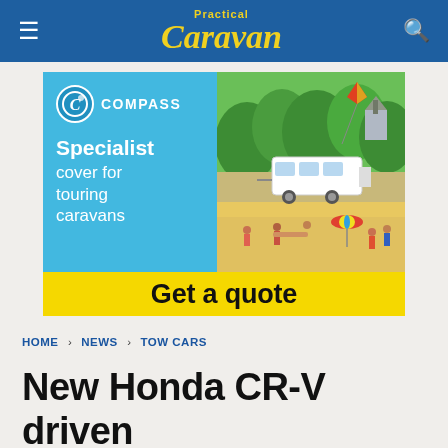Practical Caravan
[Figure (illustration): Compass insurance advertisement banner: 'Specialist cover for touring caravans – Get a quote' with an illustrated beach/countryside scene showing a caravan.]
HOME › NEWS › TOW CARS
New Honda CR-V driven